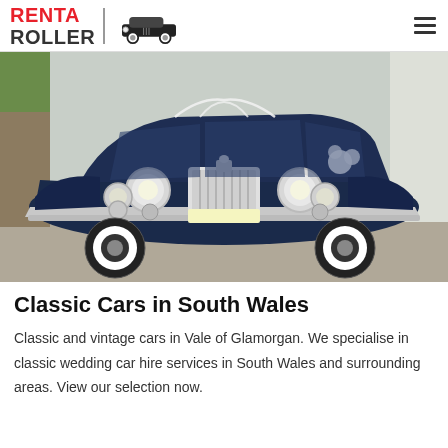RENT A ROLLER
[Figure (photo): Front view of a classic vintage Rolls-Royce car in dark navy blue with chrome grille and headlamps, decorated with white ribbons, parked on a driveway]
Classic Cars in South Wales
Classic and vintage cars in Vale of Glamorgan. We specialise in classic wedding car hire services in South Wales and surrounding areas. View our selection now.